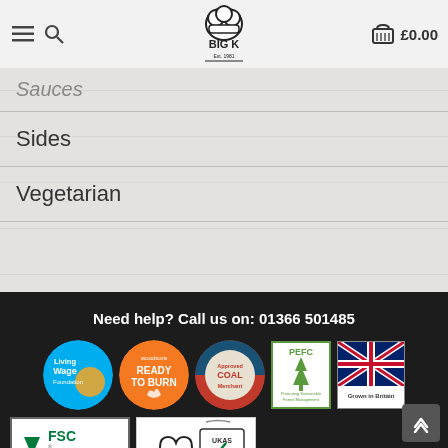Big K website header with navigation and cart showing £0.00
Sauces
Sides
Vegetarian
Need help? Call us on: 01366 501485
[Figure (logo): Living Wage Foundation badge]
[Figure (logo): Woodsure Ready to Burn badge]
[Figure (logo): Approved Coal Merchant badge]
[Figure (logo): PEFC Promoting Sustainable Forest Management badge]
[Figure (logo): Grown in Britain badge]
[Figure (logo): FSC The mark of responsible forestry badge]
[Figure (logo): BSI UKAS badge]